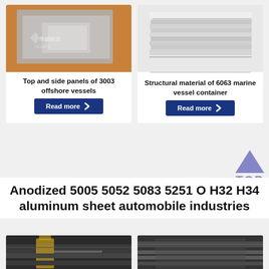[Figure (photo): Aluminum sheet panels (grey/silver) on an orange wood background with Huawei Aluminum watermark]
Top and side panels of 3003 offshore vessels
Read more
[Figure (photo): Stack of silver aluminum sheets on white background]
Structural material of 6063 marine vessel container
Read more
[Figure (illustration): Purple/lavender upward-pointing triangle with TOP label beneath it]
Anodized 5005 5052 5083 5251 O H32 H34 aluminum sheet automobile industries
[Figure (photo): Industrial factory interior with yellow crane and aluminum sheets]
[Figure (photo): Industrial setting with aluminum sheet processing]